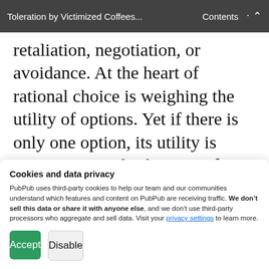Toleration by Victimized Coffees... Contents
retaliation, negotiation, or avoidance. At the heart of rational choice is weighing the utility of options. Yet if there is only one option, its utility is inconsequential. This was often conveyed by personnel when explaining their responses to graffiti and minor theft: “There is nothing I can do about it [graffiti carved into table]. No idea
Cookies and data privacy
PubPub uses third-party cookies to help our team and our communities understand which features and content on PubPub are receiving traffic. We don’t sell this data or share it with anyone else, and we don’t use third-party processors who aggregate and sell data. Visit your privacy settings to learn more.
Accept
Disable